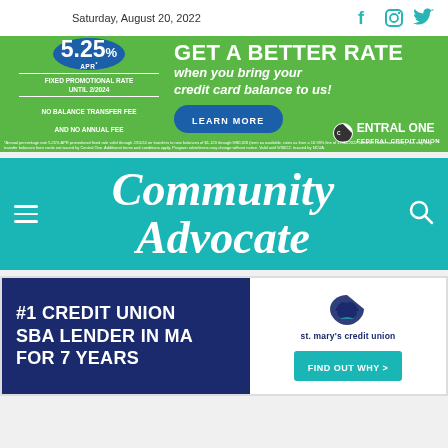Saturday, August 20, 2022
[Figure (infographic): Central One Federal Credit Union advertisement: 5.25% APR Fixed Promotional Rate until 2/2024, Get A Better Rate when you bring your credit card balance to us! No Balance Transfer Fee and No Annual Fee. Learn More button.]
Community Advocate
[Figure (infographic): St. Mary's Credit Union ad: #1 Credit Union SBA Lender in MA for 7 Years. Find Out Why button.]